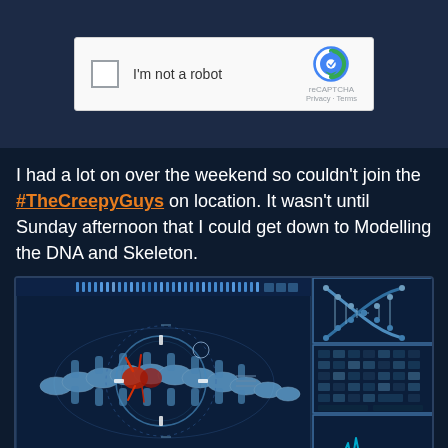[Figure (screenshot): Google reCAPTCHA widget showing a checkbox labeled 'I'm not a robot' with the reCAPTCHA logo, Privacy and Terms links on a light gray background]
I had a lot on over the weekend so couldn't join the #TheCreepyGuys on location. It wasn't until Sunday afternoon that I could get down to Modelling the DNA and Skeleton.
[Figure (screenshot): Scientific visualization interface showing an X-ray style skeleton/spine model with targeting crosshairs, highlighted red area, and side panels showing a DNA double helix model, a data grid, and a cardiac monitor waveform display. Dark blue HUD-style interface.]